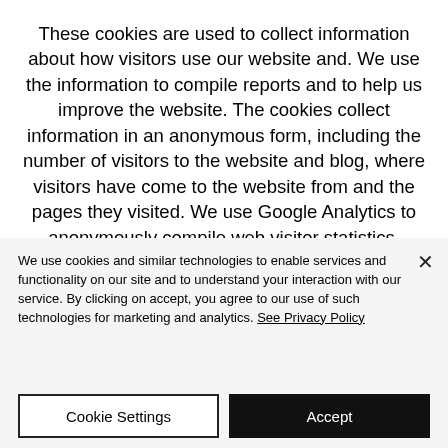These cookies are used to collect information about how visitors use our website and. We use the information to compile reports and to help us improve the website. The cookies collect information in an anonymous form, including the number of visitors to the website and blog, where visitors have come to the website from and the pages they visited. We use Google Analytics to anonymously compile web visitor statistics.
We use cookies and similar technologies to enable services and functionality on our site and to understand your interaction with our service. By clicking on accept, you agree to our use of such technologies for marketing and analytics. See Privacy Policy